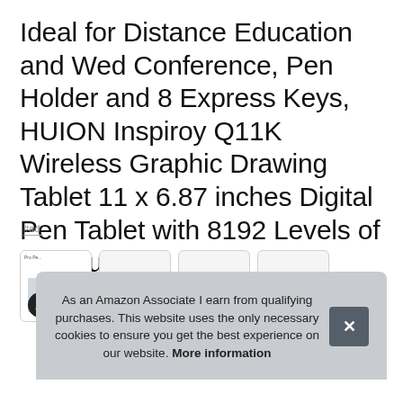Ideal for Distance Education and Wed Conference, Pen Holder and 8 Express Keys, HUION Inspiroy Q11K Wireless Graphic Drawing Tablet 11 x 6.87 inches Digital Pen Tablet with 8192 Levels of Pressure
#ad
[Figure (screenshot): Partial product image strip showing tablet product cards, partially obscured by cookie consent overlay]
As an Amazon Associate I earn from qualifying purchases. This website uses the only necessary cookies to ensure you get the best experience on our website. More information